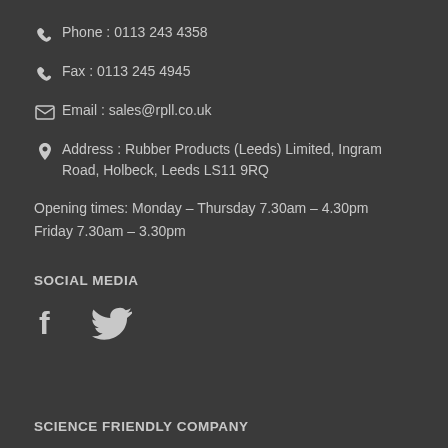Phone : 0113 243 4358
Fax : 0113 245 4945
Email : sales@rpll.co.uk
Address : Rubber Products (Leeds) Limited, Ingram Road, Holbeck, Leeds LS11 9RQ
Opening times: Monday – Thursday 7.30am – 4.30pm Friday 7.30am – 3.30pm
SOCIAL MEDIA
[Figure (illustration): Facebook and Twitter social media icons]
SCIENCE FRIENDLY COMPANY